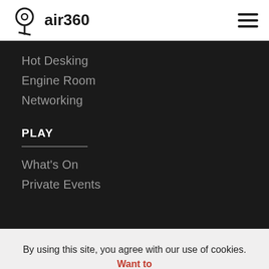air360
Hot Desking
Engine Room
Networking
PLAY
What's On
Private Events
By using this site, you agree with our use of cookies. Want to know more?
Accept